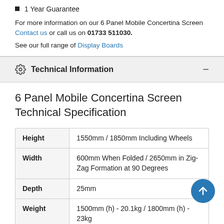1 Year Guarantee
For more information on our 6 Panel Mobile Concertina Screen Contact us or call us on 01733 511030.
See our full range of Display Boards
Technical Information
6 Panel Mobile Concertina Screen Technical Specification
|  |  |
| --- | --- |
| Height | 1550mm / 1850mm Including Wheels |
| Width | 600mm When Folded / 2650mm in Zig-Zag Formation at 90 Degrees |
| Depth | 25mm |
| Weight | 1500mm (h) - 20.1kg / 1800mm (h) - 23kg |